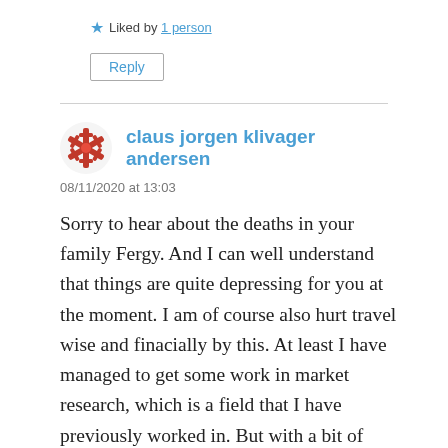★ Liked by 1 person
Reply
claus jorgen klivager andersen
08/11/2020 at 13:03
Sorry to hear about the deaths in your family Fergy. And I can well understand that things are quite depressing for you at the moment. I am of course also hurt travel wise and finacially by this. At least I have managed to get some work in market research, which is a field that I have previously worked in. But with a bit of luck, we have a vaccine coming by the end of